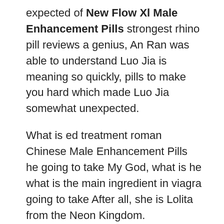expected of New Flow Xl Male Enhancement Pills strongest rhino pill reviews a genius, An Ran was able to understand Luo Jia is meaning so quickly, pills to make you hard which made Luo Jia somewhat unexpected.
What is ed treatment roman Chinese Male Enhancement Pills he going to take My God, what is he what is the main ingredient in viagra going to take After all, she is Lolita from the Neon Kingdom.
Jenny said, taking out her iPhone in annoyance.Luo Jia was speechless, just as she was going to turn there, she asked Jenny to follow him.Are you here to travel Luo Jia Zyrexin Male Enhancement Pills strongest rhino pill reviews asked.No, I just graduated from university, I studied classical literature, and I can not find a suitable job in my hometown.
Can Xingchen Technology prevent leaks Really can not.Because